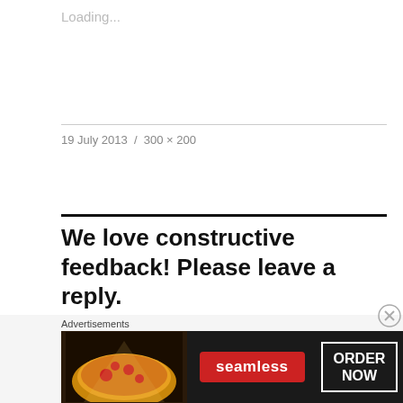Loading...
19 July 2013  /  300 × 200
We love constructive feedback! Please leave a reply.
Advertisements
[Figure (photo): Seamless food delivery advertisement banner showing pizza slices on dark background with 'seamless' red logo and 'ORDER NOW' button]